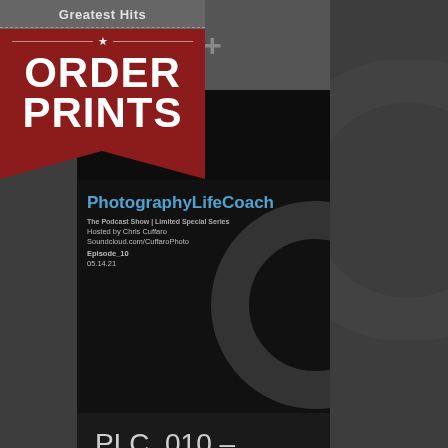[Figure (illustration): ORDER PRINTS greatest hits banner/badge overlaid on a dark photography website screenshot showing PhotographyLifeCoach podcast card and PLC_010 Michelle Grace Hunder post preview. The site belongs to Chris Cuffaro, music photographer.]